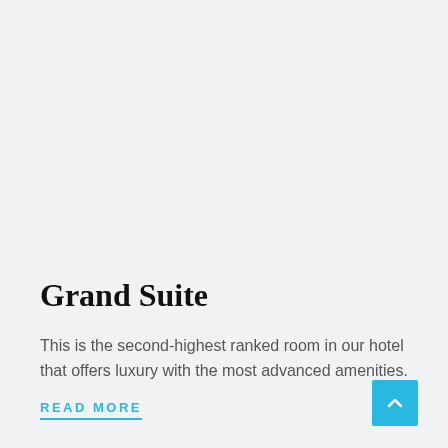Grand Suite
This is the second-highest ranked room in our hotel that offers luxury with the most advanced amenities.
READ MORE